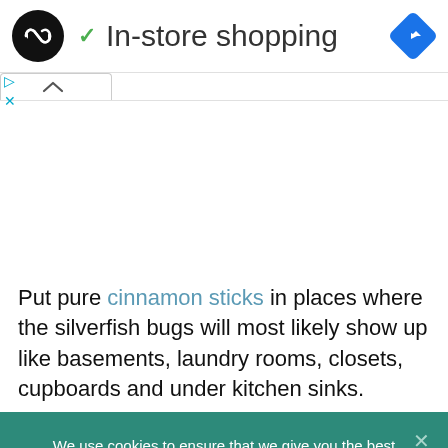[Figure (logo): Black circular logo with infinity/loop symbol in white, navigation diamond icon in blue on the right]
In-store shopping
[Figure (screenshot): Collapse tab button with up caret arrow]
Put pure cinnamon sticks in places where the silverfish bugs will most likely show up like basements, laundry rooms, closets, cupboards and under kitchen sinks.
We use cookies to ensure that we give you the best experience on Remedies News. If you continue to use this site we will assume that you are happy with it.